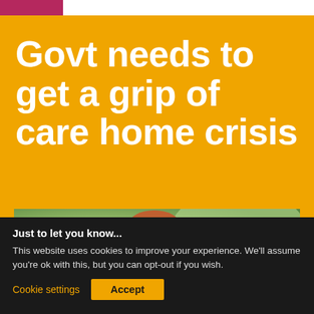Govt needs to get a grip of care home crisis
[Figure (photo): A smiling elderly or middle-aged person photographed against a blurred green plant/garden background, wearing a patterned top.]
Just to let you know...
This website uses cookies to improve your experience. We'll assume you're ok with this, but you can opt-out if you wish.
Cookie settings  Accept